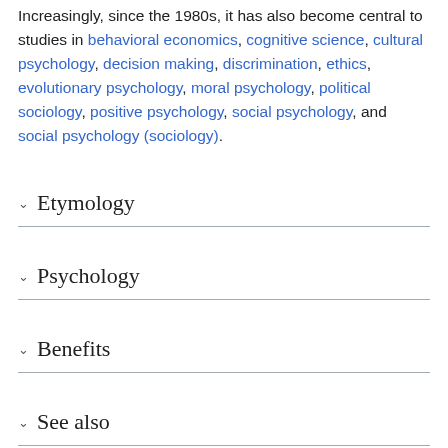Increasingly, since the 1980s, it has also become central to studies in behavioral economics, cognitive science, cultural psychology, decision making, discrimination, ethics, evolutionary psychology, moral psychology, political sociology, positive psychology, social psychology, and social psychology (sociology).
Etymology
Psychology
Benefits
See also